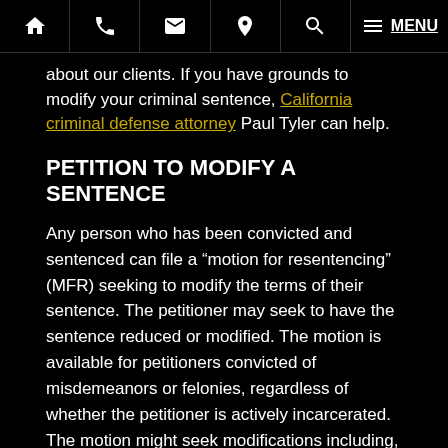Navigation bar with home, phone, mail, location, search, menu icons
about our clients. If you have grounds to modify your criminal sentence, California criminal defense attorney Paul Tyler can help.
PETITION TO MODIFY A SENTENCE
Any person who has been convicted and sentenced can file a “motion for resentencing” (MFR) seeking to modify the terms of their sentence. The petitioner may seek to have the sentence reduced or modified. The motion is available for petitioners convicted of misdemeanors or felonies, regardless of whether the petitioner is actively incarcerated. The motion might seek modifications including, for example, conditions of house arrest or parole, location of incarceration, changing the terms or timeframe for paying a fine, among other things.